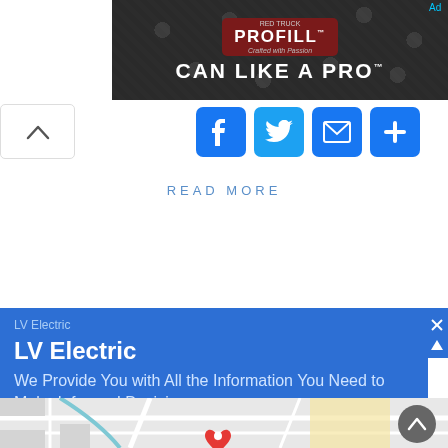[Figure (screenshot): Advertisement banner showing 'PROFILL - CAN LIKE A PRO' text on dark background with metallic cans]
[Figure (infographic): Social share buttons: Facebook, Twitter, Email, and More (+)]
READ MORE
[Figure (screenshot): LV Electric advertisement box in blue. Text: 'LV Electric' and 'We Provide You with All the Information You Need to Make Informed Decisions.']
[Figure (map): Google Maps view showing a street map with a red location pin marker]